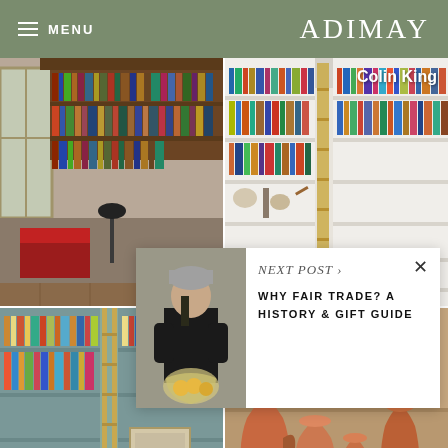MENU | ADIMAY
[Figure (photo): Interior of a home library with floor-to-ceiling bookshelves, dark wood shelving on upper level with metal railing, warm light from windows, red leather furniture below]
[Figure (photo): Modern home library with white built-in shelves filled with colorful books, brass ladder, wooden dining table in center]
Colin King
[Figure (photo): Home library with teal/blue built-in shelves, wooden ladder leaning against shelves, books arranged by color]
[Figure (photo): Ceramic pottery/vases and earthenware in warm terracotta tones]
[Figure (photo): Woman wearing grey beanie and dark outfit, holding a mesh bag filled with fruit/produce, standing against textured wall]
NEXT POST >
WHY FAIR TRADE? A HISTORY & GIFT GUIDE